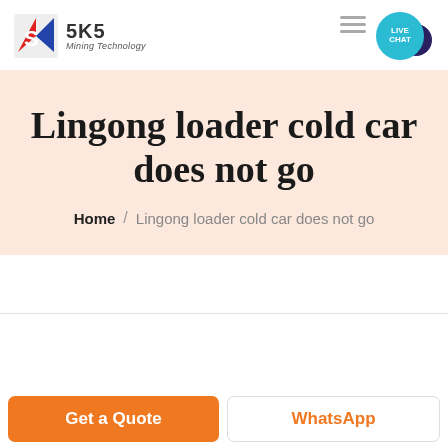[Figure (logo): SKS Mining Technology logo with stylized red and blue S icon and company name]
Lingong loader cold car does not go
Home / Lingong loader cold car does not go
Get a Quote
WhatsApp